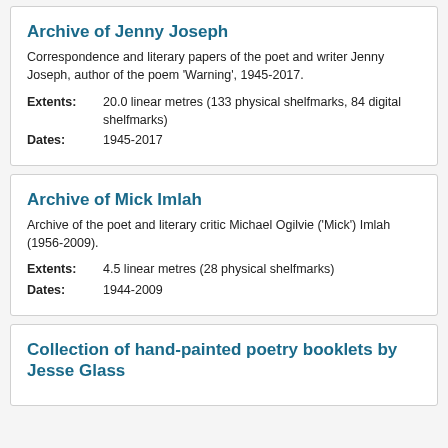Archive of Jenny Joseph
Correspondence and literary papers of the poet and writer Jenny Joseph, author of the poem 'Warning', 1945-2017.
Extents: 20.0 linear metres (133 physical shelfmarks, 84 digital shelfmarks)
Dates: 1945-2017
Archive of Mick Imlah
Archive of the poet and literary critic Michael Ogilvie ('Mick') Imlah (1956-2009).
Extents: 4.5 linear metres (28 physical shelfmarks)
Dates: 1944-2009
Collection of hand-painted poetry booklets by Jesse Glass